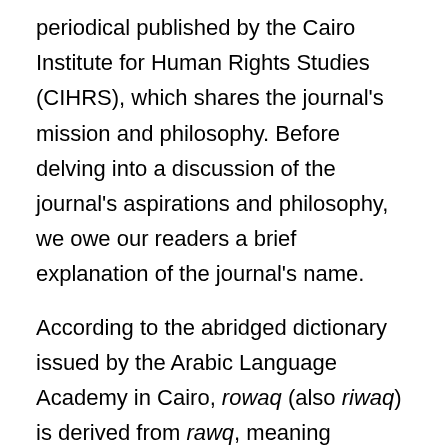periodical published by the Cairo Institute for Human Rights Studies (CIHRS), which shares the journal's mission and philosophy. Before delving into a discussion of the journal's aspirations and philosophy, we owe our readers a brief explanation of the journal's name.
According to the abridged dictionary issued by the Arabic Language Academy in Cairo, rowaq (also riwaq) is derived from rawq, meaning serenity or purity. The rowaq of a house is its front exterior part, a porch or veranda. A rowaq is also a roofed gallery for study in a mosque or temple, and a corner for meeting and discussion. This last meaning is what inspired us to call our journal Rowaq, for several